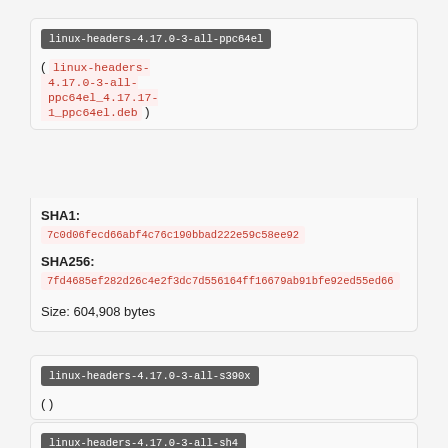linux-headers-4.17.0-3-all-ppc64el
( linux-headers-4.17.0-3-all-ppc64el_4.17.17-1_ppc64el.deb )
SHA1: 7c0d06fecd66abf4c76c190bbad222e59c58ee92
SHA256: 7fd4685ef282d26c4e2f3dc7d556164ff16679ab91bfe92ed55ed66...
Size: 604,908 bytes
linux-headers-4.17.0-3-all-s390x
( )
linux-headers-4.17.0-3-all-sh4
( )